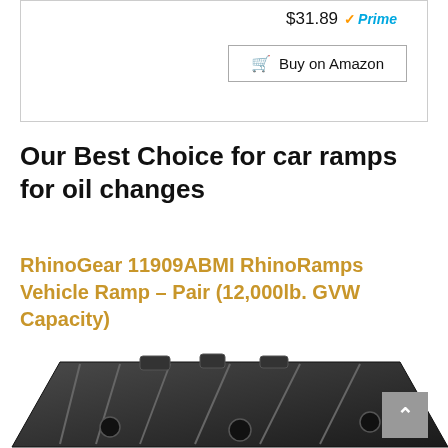$31.89 Prime
Buy on Amazon
Our Best Choice for car ramps for oil changes
RhinoGear 11909ABMI RhinoRamps Vehicle Ramp – Pair (12,000lb. GVW Capacity)
[Figure (photo): A pair of black plastic RhinoRamps vehicle ramps shown stacked at an angle, displaying their ribbed top surface and structural underside cutouts with circular markings.]